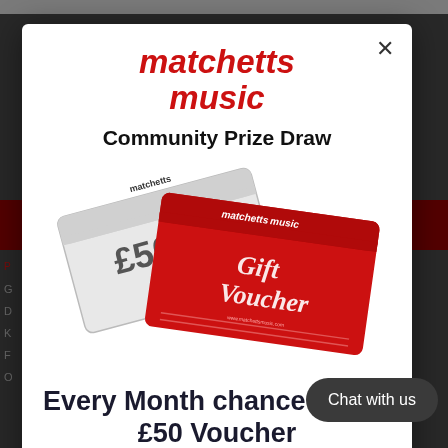matchetts music
Community Prize Draw
[Figure (illustration): Two Matchetts Music £50 Gift Vouchers fanned out — one white/silver and one red with script 'Gift Voucher' text and matchetts music branding]
Every Month chance to win £50 Voucher
Join our email list and not only will you